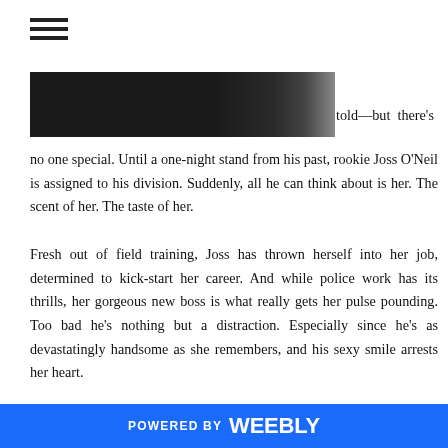[Figure (photo): Dark image strip at the top of the page, partially visible, black/dark tones]
told—but there's no one special. Until a one-night stand from his past, rookie Joss O'Neil is assigned to his division. Suddenly, all he can think about is her. The scent of her. The taste of her.

Fresh out of field training, Joss has thrown herself into her job, determined to kick-start her career. And while police work has its thrills, her gorgeous new boss is what really gets her pulse pounding. Too bad he's nothing but a distraction. Especially since he's as devastatingly handsome as she remembers, and his sexy smile arrests her heart.

Now that Joss is back in Maddox's life, he has a plan: satisfy her fantasies and fulfill his every dark desire. Nothing is off limits.
POWERED BY weebly